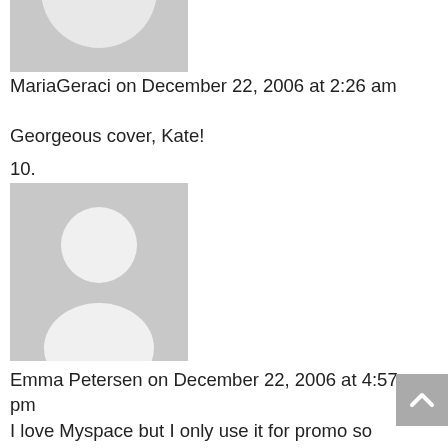[Figure (illustration): Generic grey avatar placeholder image (upper portion visible), showing default user silhouette]
MariaGeraci on December 22, 2006 at 2:26 am
Georgeous cover, Kate!
10.
[Figure (illustration): Generic grey avatar placeholder image with white person silhouette (head and shoulders)]
Emma Petersen on December 22, 2006 at 4:57 pm
I love Myspace but I only use it for promo so I'm not on there as often as I should be! I look for you the next time and friend you if I havent already.
Sighs. Promo is indeed time consuming. I'm still trying to find my balance so I'm not either writing and totally ignoring promo or vice